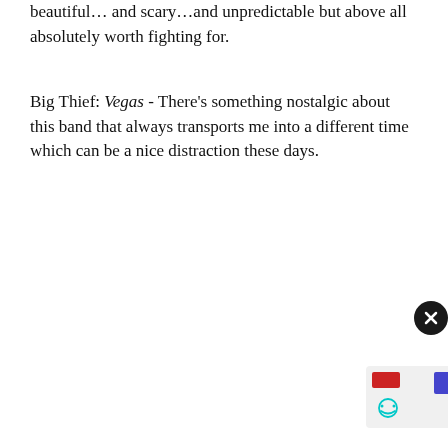beautiful… and scary…and unpredictable but above all absolutely worth fighting for.
Big Thief: Vegas - There's something nostalgic about this band that always transports me into a different time which can be a nice distraction these days.
[Figure (screenshot): Spotify player widget showing 'Deep In Love' by Bonny Light Horseman, with a play button, progress bar, share icon, and Spotify logo on a dark tan background. Below is a black and white close-up photo of a horse's eye and face. A notification close button (X) and a small card with red and blue rectangles and a smiley face are overlaid in the bottom-right corner.]